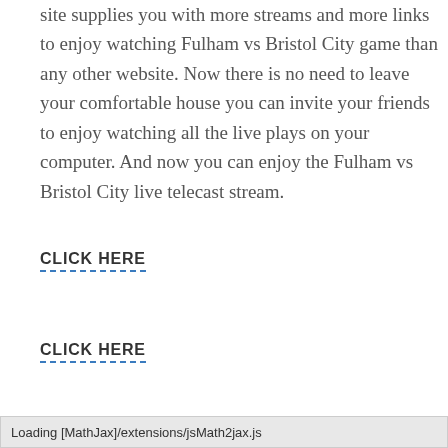site supplies you with more streams and more links to enjoy watching Fulham vs Bristol City game than any other website. Now there is no need to leave your comfortable house you can invite your friends to enjoy watching all the live plays on your computer. And now you can enjoy the Fulham vs Bristol City live telecast stream.
CLICK HERE
CLICK HERE
CLICK HERE
Enjoy watching Fulham vs Bristol City online game using
Loading [MathJax]/extensions/jsMath2jax.js